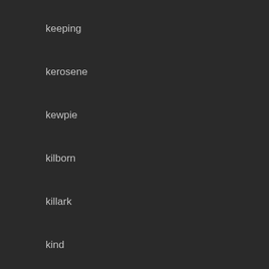keeping
kerosene
kewpie
kilborn
killark
kind
king
klonz
kmart
lamp
lamps
lamput
lancia
lantern
large